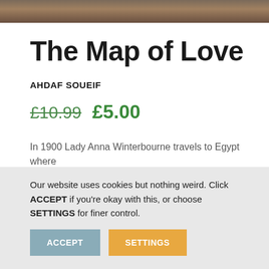[Figure (photo): Partial top image strip showing a photograph, cropped at top of page]
The Map of Love
AHDAF SOUEIF
£10.99  £5.00
In 1900 Lady Anna Winterbourne travels to Egypt where
Our website uses cookies but nothing weird. Click ACCEPT if you're okay with this, or choose SETTINGS for finer control.